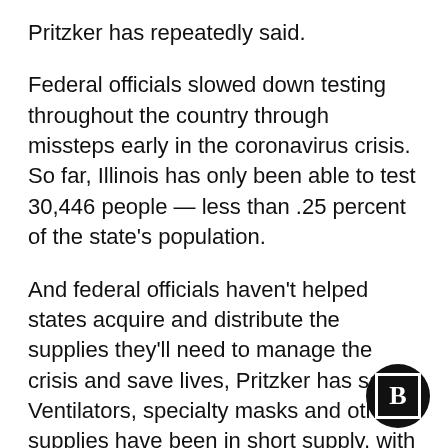Pritzker has repeatedly said.
Federal officials slowed down testing throughout the country through missteps early in the coronavirus crisis. So far, Illinois has only been able to test 30,446 people — less than .25 percent of the state's population.
And federal officials haven't helped states acquire and distribute the supplies they'll need to manage the crisis and save lives, Pritzker has said. Ventilators, specialty masks and other supplies have been in short supply, with Illinois having to compete against other states and our own federal government to buy them from manufacturers.
[Figure (logo): Bold letter B in a white bordered square inside a black circle — Bolts logo or publisher mark]